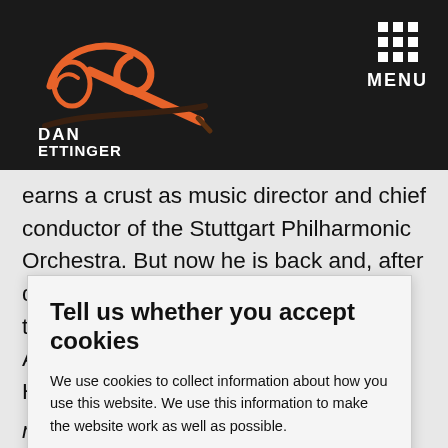DAN ETTINGER CONDUCTOR — website header with logo and MENU
earns a crust as music director and chief conductor of the Stuttgart Philharmonic Orchestra. But now he is back and, after doing his isolation time, has gleefully thrown himself back into the fray in Tel Aviv, as he prepares to oversee Opera House ensemble Israel
Tell us whether you accept cookies
We use cookies to collect information about how you use this website. We use this information to make the website work as well as possible.
ACCEPT ALL COOKIES
Set cookie prefences
routines